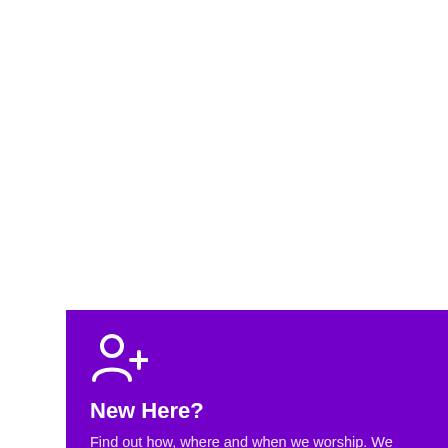[Figure (illustration): Purple card with a person-add icon (silhouette with plus sign), bold white title 'New Here?', and white body text]
New Here?
Find out how, where and when we worship. We hope to see you soon!!